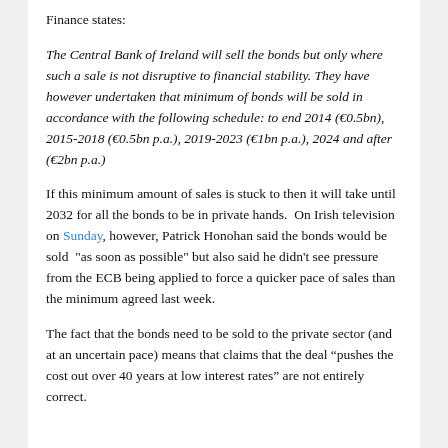Finance states:
The Central Bank of Ireland will sell the bonds but only where such a sale is not disruptive to financial stability. They have however undertaken that minimum of bonds will be sold in accordance with the following schedule: to end 2014 (€0.5bn), 2015-2018 (€0.5bn p.a.), 2019-2023 (€1bn p.a.), 2024 and after (€2bn p.a.)
If this minimum amount of sales is stuck to then it will take until 2032 for all the bonds to be in private hands.  On Irish television on Sunday, however, Patrick Honohan said the bonds would be sold  "as soon as possible" but also said he didn't see pressure from the ECB being applied to force a quicker pace of sales than the minimum agreed last week.
The fact that the bonds need to be sold to the private sector (and at an uncertain pace) means that claims that the deal “pushes the cost out over 40 years at low interest rates” are not entirely correct.